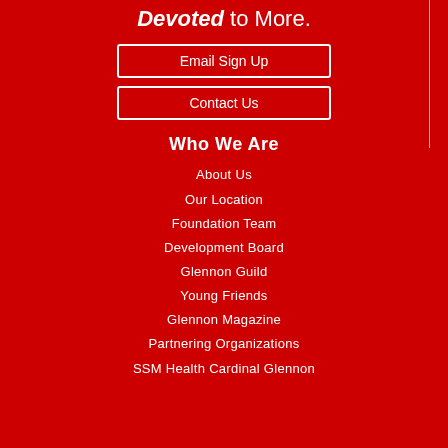Devoted to More.
Email Sign Up
Contact Us
Who We Are
About Us
Our Location
Foundation Team
Development Board
Glennon Guild
Young Friends
Glennon Magazine
Partnering Organizations
SSM Health Cardinal Glennon